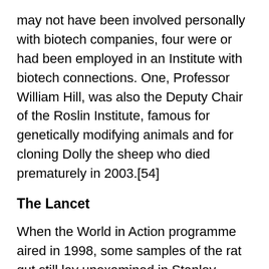may not have been involved personally with biotech companies, four were or had been employed in an Institute with biotech connections. One, Professor William Hill, was also the Deputy Chair of the Roslin Institute, famous for genetically modifying animals and for cloning Dolly the sheep who died prematurely in 2003.[54]
The Lancet
When the World in Action programme aired in 1998, some samples of the rat gut still lay unexamined in Stanley Ewen’s laboratory at the University of Aberdeen. ‘Once the programme had gone out in August, I knew that I would have to do some extra work’, says Ewen, in his first in-depth interview since semi-retiring. When Pusztai had spoken about what they had seen in the lab, Ewen still had to undertake the detailed histology, because other work commitments had kept him from